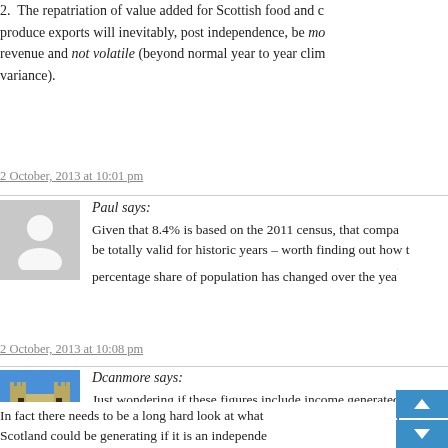2.  The repatriation of value added for Scottish food and produce exports will inevitably, post independence, be more stable revenue and not volatile (beyond normal year to year climate variance).
2 October, 2013 at 10:01 pm
Paul says: Given that 8.4% is based on the 2011 census, that comparison may be totally valid for historic years – worth finding out how the percentage share of population has changed over the years.
2 October, 2013 at 10:08 pm
Dcanmore says: Just wondering if these figures include income generated by Crown Estates in Scotland? That's a good point about Customs being paid in England, maybe that's why Scotland has very few import/export handling facilities.
In fact there needs to be a long hard look at what Scotland could be generating if it is an independent...